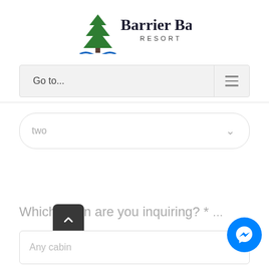[Figure (logo): Barrier Bay Resort logo with pine tree and water waves graphic]
Go to...
two
Which cabin are you inquiring? * ...
Any cabin